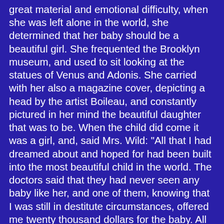great material and emotional difficulty, when she was left alone in the world, she determined that her baby should be a beautiful girl. She frequented the Brooklyn museum, and used to sit looking at the statues of Venus and Adonis. She carried with her also a magazine cover, depicting a head by the artist Boileau, and constantly pictured in her mind the beautiful daughter that was to be. When the child did come it was a girl, and, said Mrs. Wild: "All that I had dreamed about and hoped for had been built into the most beautiful child in the world. The doctors said that they had never seen any baby like her, and one of them, knowing that I was still in destitute circumstances, offered me twenty thousand dollars for the baby. All the money in the world could not have bought her, however, for I knew that I had (Page.18) succeeded. Looking into her little face I could see that it was the image of the Boileau painting, and I knew then that her figure would develop along the lines of beauty of my statues. Her figure has developed along those lines, and to this day she has the same bright-coloured hair, the same dark eyelashes and, when her face is in repose, the exact expression of my Boileau picture, that I carried about so long and looked at so earnestly".
Another case is that of Mrs. Virginia Knapp, of New York. Her daughter Dorothy was chosen prize Venus of America at the contestants held in Madison Square Garden. This